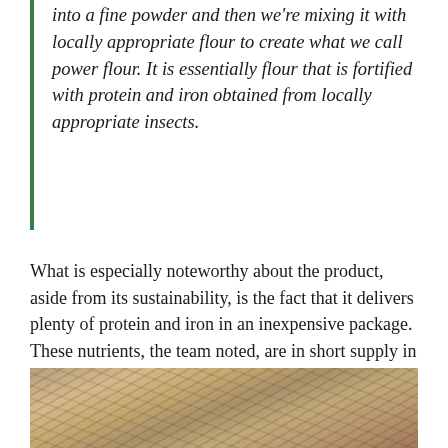into a fine powder and then we're mixing it with locally appropriate flour to create what we call power flour. It is essentially flour that is fortified with protein and iron obtained from locally appropriate insects.
What is especially noteworthy about the product, aside from its sustainability, is the fact that it delivers plenty of protein and iron in an inexpensive package. These nutrients, the team noted, are in short supply in the diets of many people in developing nations, but can be found in high amounts in insects. For example, they note, crickets have a higher protein content per weight than beef.
[Figure (photo): Photograph of a thatched roof structure, showing overlapping dried palm or grass thatch materials in brown and tan tones.]